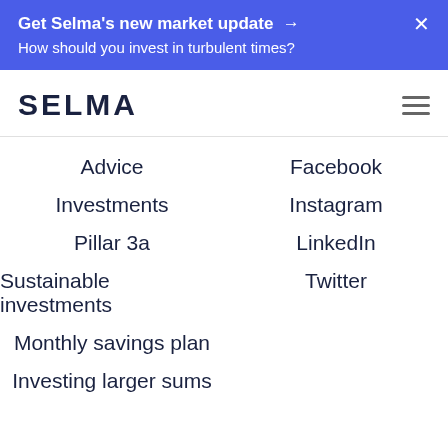Get Selma's new market update → How should you invest in turbulent times?
SELMA
Advice
Investments
Pillar 3a
Sustainable investments
Monthly savings plan
Investing larger sums
Facebook
Instagram
LinkedIn
Twitter